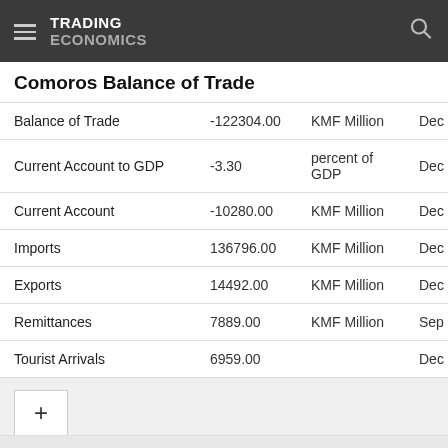TRADING ECONOMICS
Comoros Balance of Trade
|  | Value | Unit | Period |
| --- | --- | --- | --- |
| Balance of Trade | -122304.00 | KMF Million | Dec |
| Current Account to GDP | -3.30 | percent of GDP | Dec |
| Current Account | -10280.00 | KMF Million | Dec |
| Imports | 136796.00 | KMF Million | Dec |
| Exports | 14492.00 | KMF Million | Dec |
| Remittances | 7889.00 | KMF Million | Sep |
| Tourist Arrivals | 6959.00 |  | Dec |